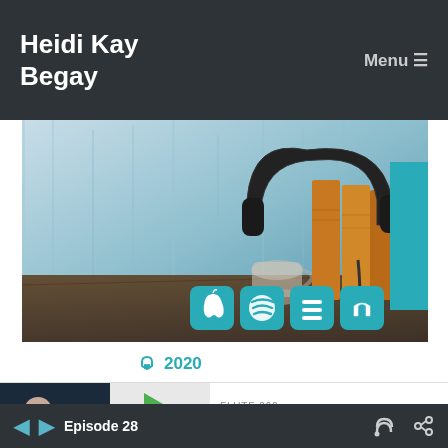Heidi Kay Begay  Menu ≡
[Figure (screenshot): Podcast website banner with headphones and books image, Subscribe tab on right, and four platform icon buttons (Apple, Spotify, record, headphones) at bottom right]
🎧 2020
[Figure (screenshot): Podcast episode player card: thumbnail on left with Flute 360 logo, play button, episode title 'FLUTE 360 - Episode 123: Tech Equipment Setup f...' and playback controls showing 30 back, 00:00:00, 30 forward plus share icons]
◄  ►  Episode 28  [RSS icon]  [share icon]